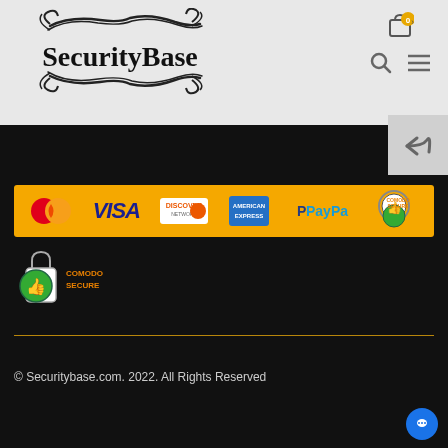[Figure (logo): SecurityBase logo with decorative swirls, serif font]
[Figure (infographic): Payment methods banner: MasterCard, VISA, Discover, American Express, PayPal, Comodo Secure on golden/amber background]
[Figure (logo): Comodo Secure badge with padlock and thumbs up icon]
© Securitybase.com. 2022. All Rights Reserved